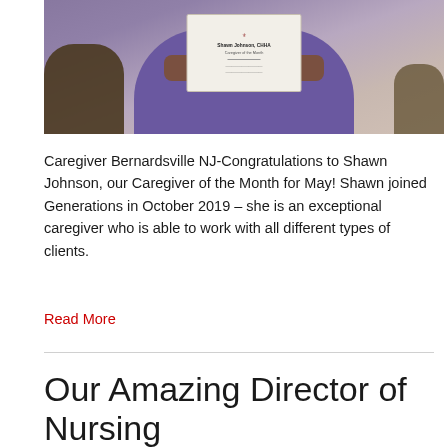[Figure (photo): Person in purple hoodie holding a certificate/award while seated in a chair]
Caregiver Bernardsville NJ-Congratulations to Shawn Johnson, our Caregiver of the Month for May! Shawn joined Generations in October 2019 – she is an exceptional caregiver who is able to work with all different types of clients.
Read More
Our Amazing Director of Nursing